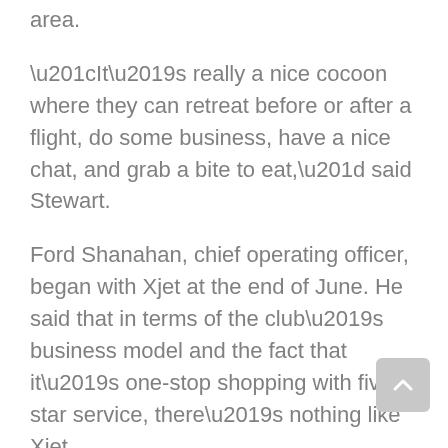area.
“It’s really a nice cocoon where they can retreat before or after a flight, do some business, have a nice chat, and grab a bite to eat,” said Stewart.
Ford Shanahan, chief operating officer, began with Xjet at the end of June. He said that in terms of the club’s business model and the fact that it’s one-stop shopping with five-star service, there’s nothing like Xjet.
On July 21, Arapahoe County Public Airport Authority unanimously approved the plans for Xjet. Three state-of-the-art hangars totaling 64,000 square feet, able to hold 15 to 20 aircraft, are some of the plans entailed. The clubhouse will total 16,000 square feet